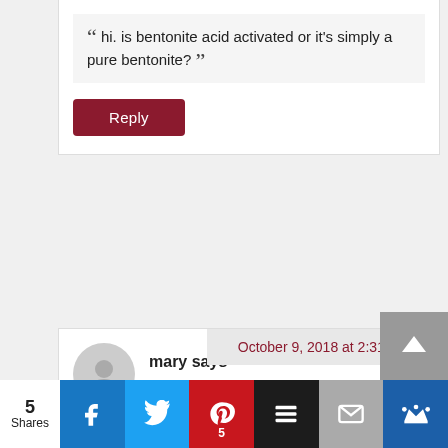“ hi. is bentonite acid activated or it’s simply a pure bentonite? ”
Reply
October 9, 2018 at 2:31 am
mary says
“ hi. is this bentonite acid activated or just pure bentonite? ”
Reply
5 Shares